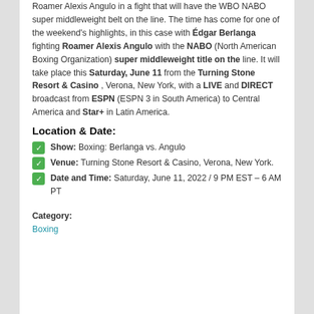Roamer Alexis Angulo in a fight that will have the WBO NABO super middleweight belt on the line. The time has come for one of the weekend's highlights, in this case with Édgar Berlanga fighting Roamer Alexis Angulo with the NABO (North American Boxing Organization) super middleweight title on the line. It will take place this Saturday, June 11 from the Turning Stone Resort & Casino , Verona, New York, with a LIVE and DIRECT broadcast from ESPN (ESPN 3 in South America) to Central America and Star+ in Latin America.
Location & Date:
Show: Boxing: Berlanga vs. Angulo
Venue: Turning Stone Resort & Casino, Verona, New York.
Date and Time: Saturday, June 11, 2022 / 9 PM EST – 6 AM PT
Category:
Boxing